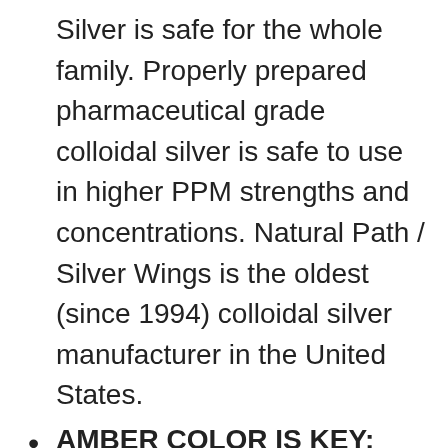Silver is safe for the whole family. Properly prepared pharmaceutical grade colloidal silver is safe to use in higher PPM strengths and concentrations. Natural Path / Silver Wings is the oldest (since 1994) colloidal silver manufacturer in the United States.
AMBER COLOR IS KEY: Silver Wings is made from naturally occurring elemental Silver, which has a color. It is not ionic or electrically processed. The higher PPM, the darker the amber color